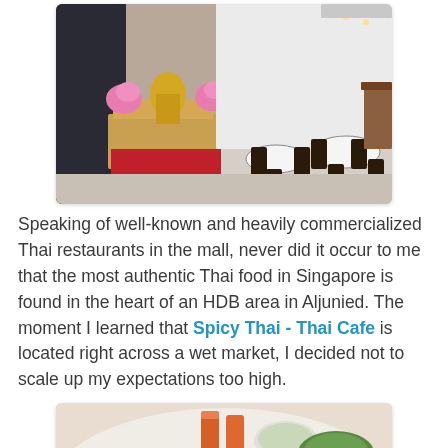[Figure (photo): Interior of a Thai restaurant showing an ornate Thai shrine/altar with flowers on the left, white walls with a fan decoration, and dark wooden dining tables and chairs in the background.]
Speaking of well-known and heavily commercialized Thai restaurants in the mall, never did it occur to me that the most authentic Thai food in Singapore is found in the heart of an HDB area in Aljunied. The moment I learned that Spicy Thai - Thai Cafe is located right across a wet market, I decided not to scale up my expectations too high.
[Figure (photo): A round table filled with many Thai dishes including various curries, soups, salads, and drinks like iced tea, spread across the table at Spicy Thai - Thai Cafe.]